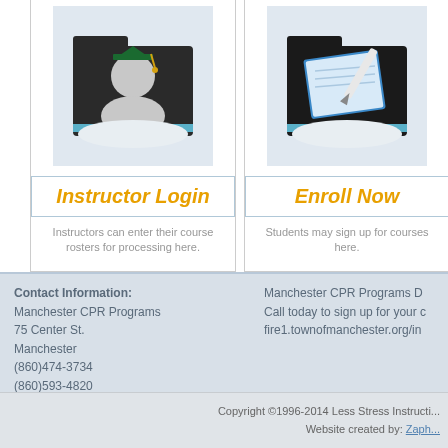[Figure (illustration): Instructor icon: dark folder with graduation cap figure]
Instructor Login
Instructors can enter their course rosters for processing here.
[Figure (illustration): Enroll Now icon: dark folder with blue notebook and pen]
Enroll Now
Students may sign up for courses here.
Contact Information:
Manchester CPR Programs
75 Center St.
Manchester
(860)474-3734
(860)593-4820

8604743734
DawnS.CPR@gmail.com
fire1.townofmanchester.org/index.cfm/cpr-program
Manchester CPR Programs D...
Call today to sign up for your c...
fire1.townofmanchester.org/in...
Copyright ©1996-2014 Less Stress Instructi...
Website created by: Zaph...